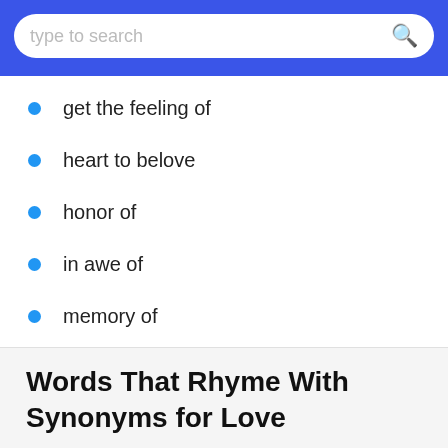[Figure (screenshot): Search bar with placeholder text 'type to search' and a search icon, on a blue background header]
get the feeling of
heart to belove
honor of
in awe of
memory of
the makings of
you're all I think of
Words That Rhyme With Synonyms for Love